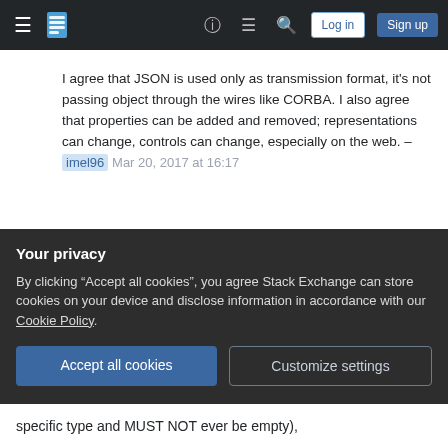Stack Exchange navigation bar with Log in and Sign up buttons
I agree that JSON is used only as transmission format, it's not passing object through the wires like CORBA. I also agree that properties can be added and removed; representations can change, controls can change, especially on the web. – imel96  Mar 20, 2017 at 16:17
Add a comment
Going with an empty string is a definitive no. Empty string still is a value, it is just empty. No value should be indicated using a construct which
Your privacy
By clicking "Accept all cookies", you agree Stack Exchange can store cookies on your device and disclose information in accordance with our Cookie Policy.
Accept all cookies
Customize settings
specific type and MUST NOT ever be empty),